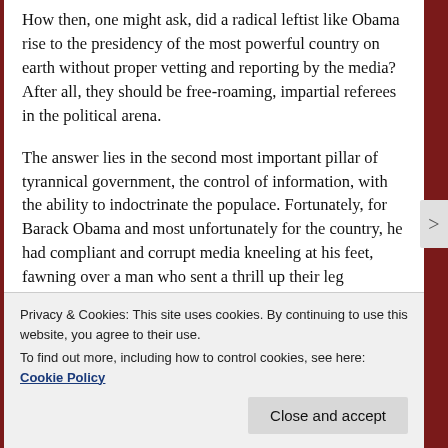How then, one might ask, did a radical leftist like Obama rise to the presidency of the most powerful country on earth without proper vetting and reporting by the media? After all, they should be free-roaming, impartial referees in the political arena.
The answer lies in the second most important pillar of tyrannical government, the control of information, with the ability to indoctrinate the populace. Fortunately, for Barack Obama and most unfortunately for the country, he had compliant and corrupt media kneeling at his feet, fawning over a man who sent a thrill up their leg
Privacy & Cookies: This site uses cookies. By continuing to use this website, you agree to their use.
To find out more, including how to control cookies, see here: Cookie Policy
Close and accept